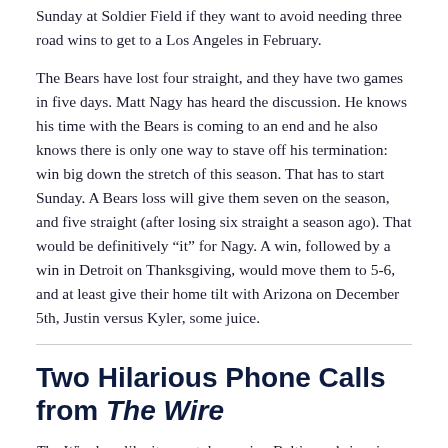Sunday at Soldier Field if they want to avoid needing three road wins to get to a Los Angeles in February.
The Bears have lost four straight, and they have two games in five days. Matt Nagy has heard the discussion. He knows his time with the Bears is coming to an end and he also knows there is only one way to stave off his termination: win big down the stretch of this season. That has to start Sunday. A Bears loss will give them seven on the season, and five straight (after losing six straight a season ago). That would be definitively “it” for Nagy. A win, followed by a win in Detroit on Thanksgiving, would move them to 5-6, and at least give their home tilt with Arizona on December 5th, Justin versus Kyler, some juice.
Two Hilarious Phone Calls from The Wire
The Wire has, like it or not, becoming Baltimore’s iconic